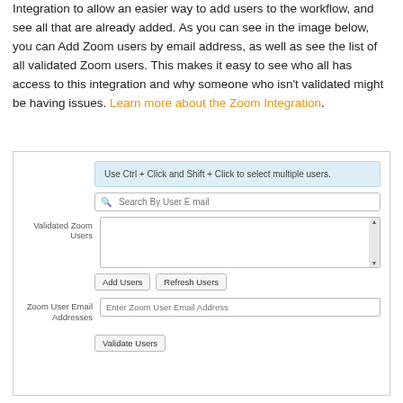Integration to allow an easier way to add users to the workflow, and see all that are already added. As you can see in the image below, you can Add Zoom users by email address, as well as see the list of all validated Zoom users. This makes it easy to see who all has access to this integration and why someone who isn't validated might be having issues. Learn more about the Zoom Integration.
[Figure (screenshot): Screenshot of a Zoom integration user management UI showing: a hint box ('Use Ctrl + Click and Shift + Click to select multiple users.'), a search field ('Search By User E mail'), a 'Validated Zoom Users' list box with scroll, 'Add Users' and 'Refresh Users' buttons, a 'Zoom User Email Addresses' text input, and a 'Validate Users' button.]